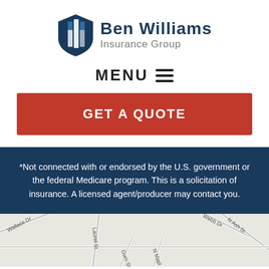[Figure (logo): Ben Williams Insurance Group logo with shield icon and company name]
MENU ≡
GET A QUOTE
*Not connected with or endorsed by the U.S. government or the federal Medicare program. This is a solicitation of insurance. A licensed agent/producer may contact you.
[Figure (map): Street map showing local roads including Wallace Dr, Laurel St, Webb Dr, N Ash St, Gum St, N Maple]